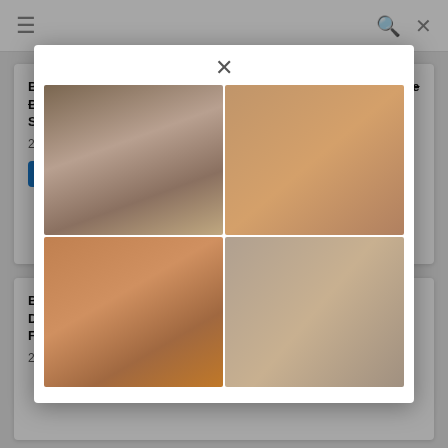≡  🔍  ✕
BANK-073 Creampie Open-air Hot Spring Fair-skinned Cheese Big Breasts Dirty Little Nasty Skin
2022
[Figure (other): Modal overlay with 4-image grid collage showing two rows of two images each, with a close (×) button at the top center]
BON- Document FUCH
2022